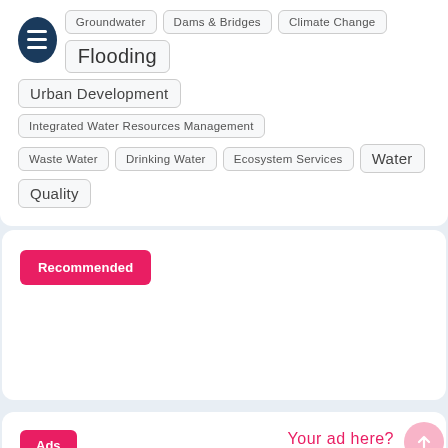Groundwater | Dams & Bridges | Climate Change | Flooding | Urban Development | Integrated Water Resources Management | Waste Water | Drinking Water | Ecosystem Services | Water | Quality
Recommended
Ads
Your ad here?